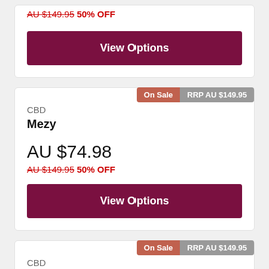AU $149.95 50% OFF
View Options
On Sale | RRP AU $149.95
CBD
Mezy
AU $74.98
AU $149.95 50% OFF
View Options
On Sale | RRP AU $149.95
CBD